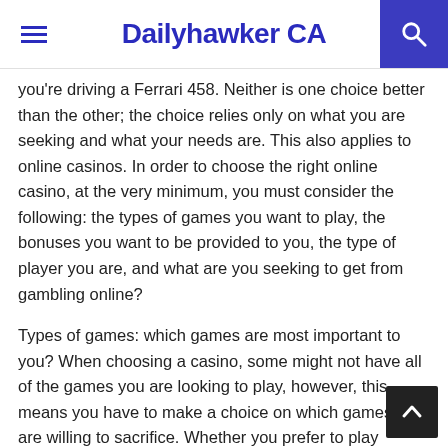Dailyhawker CA
you're driving a Ferrari 458. Neither is one choice better than the other; the choice relies only on what you are seeking and what your needs are. This also applies to online casinos. In order to choose the right online casino, at the very minimum, you must consider the following: the types of games you want to play, the bonuses you want to be provided to you, the type of player you are, and what are you seeking to get from gambling online?
Types of games: which games are most important to you? When choosing a casino, some might not have all of the games you are looking to play, however, this means you have to make a choice on which games you are willing to sacrifice. Whether you prefer to play thousands of different slots or just table games, a casino that specifies either can be found. The hard part is making the choice.